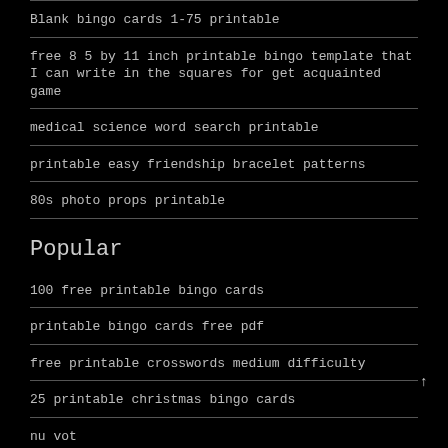Blank bingo cards 1-75 printable
free 8 5 by 11 inch printable bingo template that I can write in the squares for get acquainted game
medical science word search printable
printable easy friendship bracelet patterns
80s photo props printable
Popular
100 free printable bingo cards
printable bingo cards free pdf
free printable crosswords medium difficulty
25 printable christmas bingo cards
nu vot